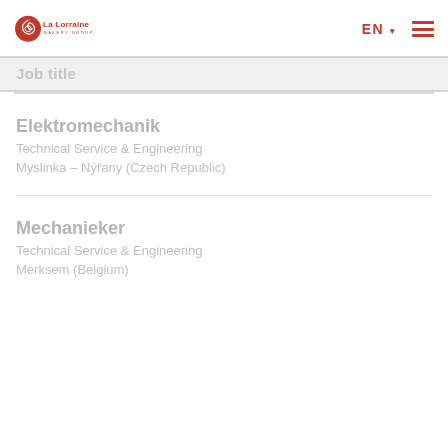La Lorraine Bakery Group
Job title
Elektromechanik
Technical Service & Engineering
Myslinka – Nýřany (Czech Republic)
Mechanieker
Technical Service & Engineering
Merksem (Belgium)